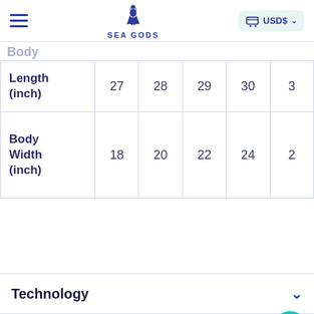SEA GODS — navigation header with hamburger menu, logo, and USD$ cart
Body
|  | 27 | 28 | 29 | 30 | 3… |
| --- | --- | --- | --- | --- | --- |
| Length (inch) | 27 | 28 | 29 | 30 | 3 |
| Body Width (inch) | 18 | 20 | 22 | 24 | 2 |
Technology
Artist
Free Shipping